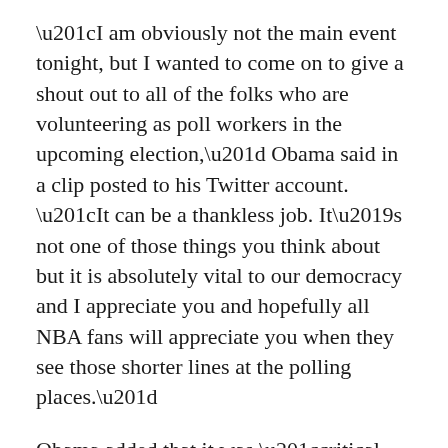“I am obviously not the main event tonight, but I wanted to come on to give a shout out to all of the folks who are volunteering as poll workers in the upcoming election,” Obama said in a clip posted to his Twitter account. “It can be a thankless job. It’s not one of those things you think about but it is absolutely vital to our democracy and I appreciate you and hopefully all NBA fans will appreciate you when they see those shorter lines at the polling places.”
Obama added that it was “critical that everybody votes in this election––by mail or in person if you can.”
LEBRON JAMES ASKS IF HOW WE VOTE IS ‘ALSO STRUCTURALLY RACIST’
James is a top figure in “More Than a Vote,” an